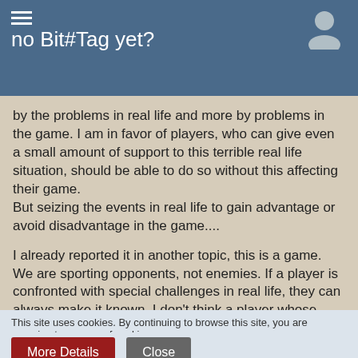no Bit#Tag yet?
by the problems in real life and more by problems in the game. I am in favor of players, who can give even a small amount of support to this terrible real life situation, should be able to do so without this affecting their game.
But seizing the events in real life to gain advantage or avoid disadvantage in the game....
I already reported it in another topic, this is a game. We are sporting opponents, not enemies. If a player is confronted with special challenges in real life, they can always make it known. I don't think a player whose alliance profile states that he is busy with refugee work will be attacked.
This site uses cookies. By continuing to browse this site, you are agreeing to our use of cookies.
More Details   Close